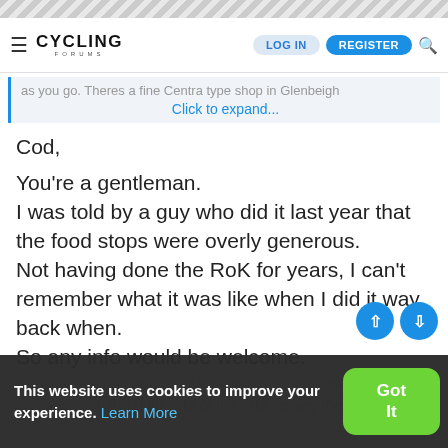CYCLING FORUMS — LOG IN | REGISTER
as you go. Theres a fine Centra type shop in Glenbeigh
Click to expand...
Cod,

You're a gentleman.
I was told by a guy who did it last year that the food stops were overly generous.
Not having done the RoK for years, I can't remember what it was like when I did it way back when.
So any info would be welcome.
But as you say there are plenty of shops "enroute".
Gotta stay on the right side of the wife - enjoy the USA!